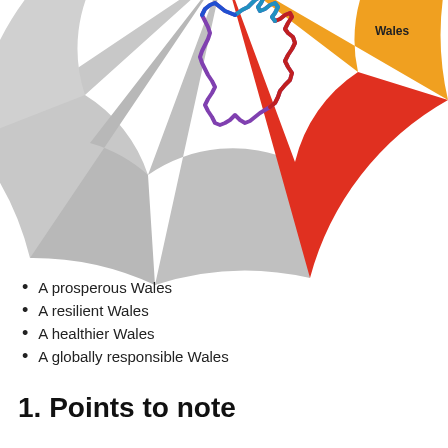[Figure (infographic): Partial donut/wheel chart showing segments of the Well-being of Future Generations Act Wales goals. Visible colored segments include orange (top right, labeled 'Wales'), red ('A Healthier Wales'), and multiple grey segments. A stylized purple outline map of Wales is overlaid in the center. Other segments are grey (unlabeled).]
A prosperous Wales
A resilient Wales
A healthier Wales
A globally responsible Wales
1. Points to note